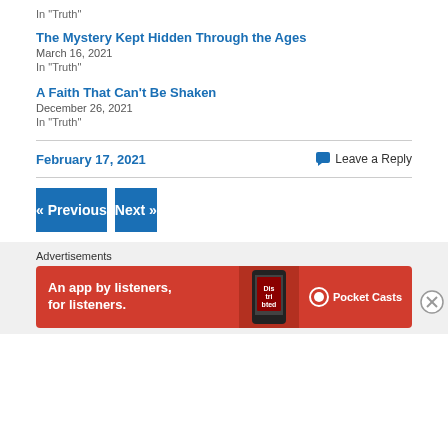In “Truth”
The Mystery Kept Hidden Through the Ages
March 16, 2021
In “Truth”
A Faith That Can’t Be Shaken
December 26, 2021
In “Truth”
February 17, 2021
Leave a Reply
« Previous
Next »
Advertisements
[Figure (other): Pocket Casts advertisement banner: red background with text 'An app by listeners, for listeners.' and Pocket Casts logo]